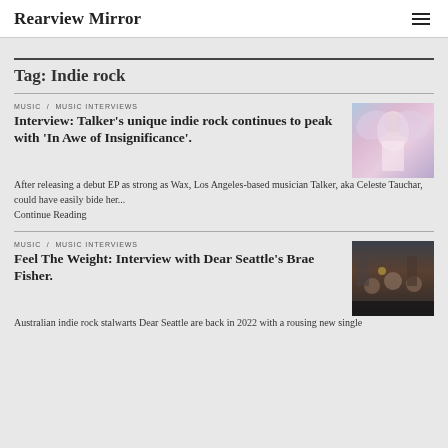Rearview Mirror
Tag: Indie rock
MUSIC / MUSIC INTERVIEWS
Interview: Talker's unique indie rock continues to peak with 'In Awe of Insignificance'.
[Figure (photo): Photo of a blonde woman with angel wings against a purple/pink background]
After releasing a debut EP as strong as Wax, Los Angeles-based musician Talker, aka Celeste Tauchar, could have easily bide her...
Continue Reading
MUSIC / MUSIC INTERVIEWS
Feel The Weight: Interview with Dear Seattle's Brae Fisher.
[Figure (photo): Photo of band members in a dimly lit venue or workshop setting]
Australian indie rock stalwarts Dear Seattle are back in 2022 with a rousing new single